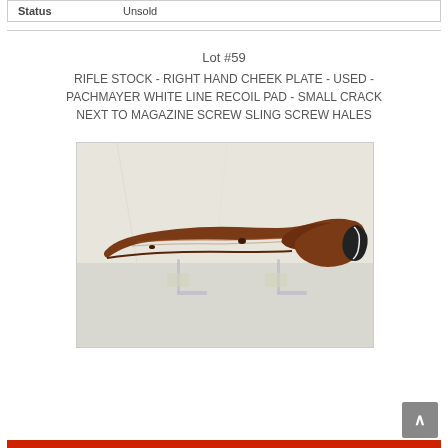| Status | Unsold |
| --- | --- |
Lot #59
RIFLE STOCK - RIGHT HAND CHEEK PLATE - USED - PACHMAYER WHITE LINE RECOIL PAD - SMALL CRACK NEXT TO MAGAZINE SCREW SLING SCREW HALES
[Figure (photo): A wooden rifle stock displayed on a white surface, shown from the side. The stock is brown/reddish wood with a cheek plate and recoil pad visible at the butt end.]